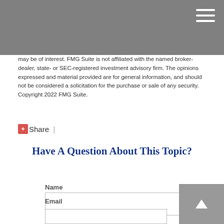may be of interest. FMG Suite is not affiliated with the named broker-dealer, state- or SEC-registered investment advisory firm. The opinions expressed and material provided are for general information, and should not be considered a solicitation for the purchase or sale of any security. Copyright 2022 FMG Suite.
Share |
Have A Question About This Topic?
Name
Email